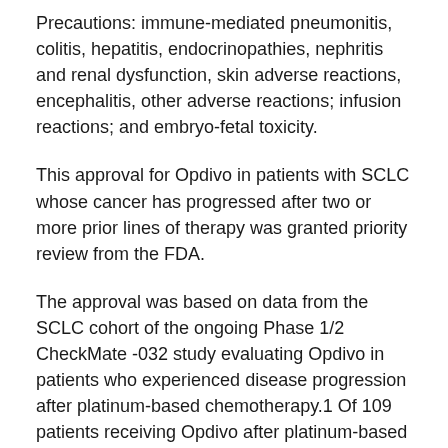Precautions: immune-mediated pneumonitis, colitis, hepatitis, endocrinopathies, nephritis and renal dysfunction, skin adverse reactions, encephalitis, other adverse reactions; infusion reactions; and embryo-fetal toxicity.
This approval for Opdivo in patients with SCLC whose cancer has progressed after two or more prior lines of therapy was granted priority review from the FDA.
The approval was based on data from the SCLC cohort of the ongoing Phase 1/2 CheckMate -032 study evaluating Opdivo in patients who experienced disease progression after platinum-based chemotherapy.1 Of 109 patients receiving Opdivo after platinum-based chemotherapy and at least one other prior line of therapy, 12% (n=13/109; 95% CI: 6.5-19.5) responded to treatment based on assessment by a Blinded Independent Central Review